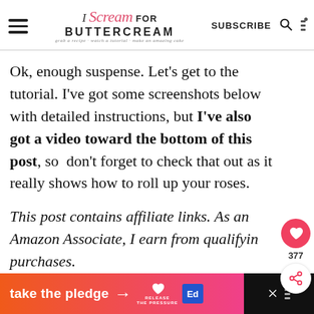I Scream for Buttercream — grab a recipe · watch a tutorial · make an amazing cake | SUBSCRIBE
Ok, enough suspense. Let's get to the tutorial. I've got some screenshots below with detailed instructions, but I've also got a video toward the bottom of this post, so  don't forget to check that out as it really shows how to roll up your roses.
This post contains affiliate links. As an Amazon Associate, I earn from qualifying purchases.
[Figure (other): Floating social widget with heart/like button showing 377 likes and a share button]
[Figure (other): Ad banner: take the pledge → RELEASE | Ed logo | close button]